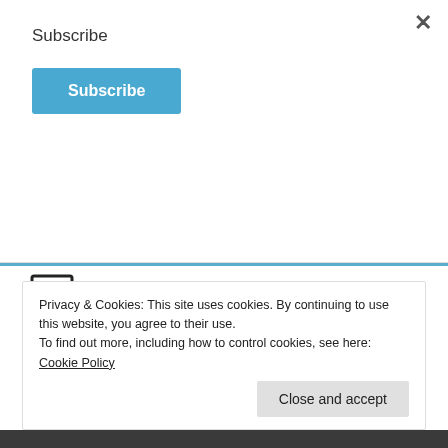Subscribe
Subscribe
being available with a fresh perspective for those who want to provide their congregations with meaningful spiritual growth opportunities, regardless of size.
To request more information or a booking, fill out the online form here.
Privacy & Cookies: This site uses cookies. By continuing to use this website, you agree to their use.
To find out more, including how to control cookies, see here: Cookie Policy
Close and accept